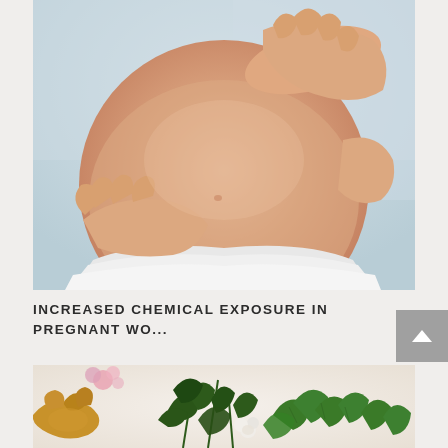[Figure (photo): Close-up photo of a pregnant woman's bare belly, with her hands cradling it from top and bottom. She is wearing a white top. Background is light blue-grey.]
INCREASED CHEMICAL EXPOSURE IN PREGNANT WO...
[Figure (photo): Photo of fresh herbs and vegetables including green mint/parsley leaves and what appears to be ginger root, on a white surface.]